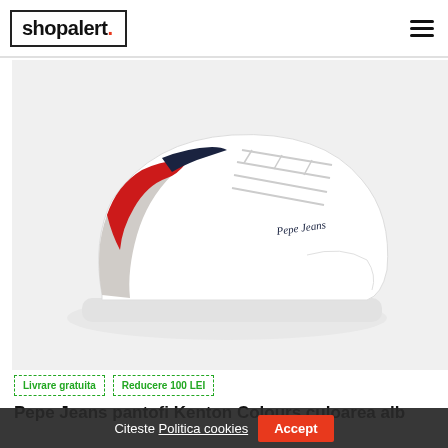shopalert.
[Figure (photo): White Pepe Jeans Kenton Colours sneaker with red heel accent and navy detail, shown on light grey background]
Livrare gratuita
Reducere 100 LEI
Pepe Jeans pantofi Kenton Colours culoarea alb
Citeste Politica cookies  Accept